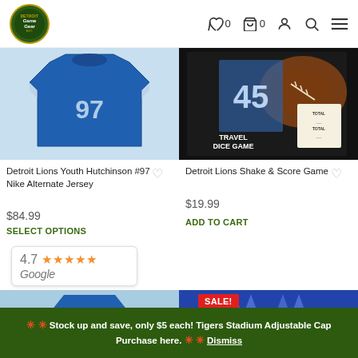Detroit Game Gear store header with logo, wishlist (0), cart (0), account, search, and menu icons
[Figure (photo): Detroit Lions Youth Hutchinson #97 Nike Alternate Jersey - blue football jersey product photo]
Detroit Lions Youth Hutchinson #97 Nike Alternate Jersey
$84.99
SELECT OPTIONS
[Figure (photo): Detroit Lions Shake & Score Travel Dice Game product photo in black box]
Detroit Lions Shake & Score Game
$19.99
ADD TO CART
[Figure (other): Google Reviews widget showing 4.7 star rating with 5 orange stars and Google logo]
[Figure (photo): Bottom portion of two product images - blue jersey on left, blue items with SALE badge on right]
✳ ✳ Stock up and save, only $5 each! Tigers Stadium Adjustable Cap Purchase here. ✳ ✳ Dismiss